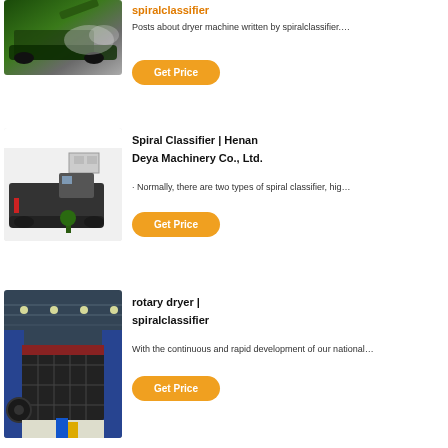[Figure (photo): Green tracked crushing machine operating outdoors, spraying dust]
spiralclassifier
Posts about dryer machine written by spiralclassifier....
Get Price
[Figure (photo): Dark tracked mobile crusher parked outside a large industrial white building]
Spiral Classifier | Henan Deya Machinery Co., Ltd.
· Normally, there are two types of spiral classifier, hig…
Get Price
[Figure (photo): Large dark industrial impact crusher inside a warehouse with blue walls]
rotary dryer | spiralclassifier
With the continuous and rapid development of our national…
Get Price